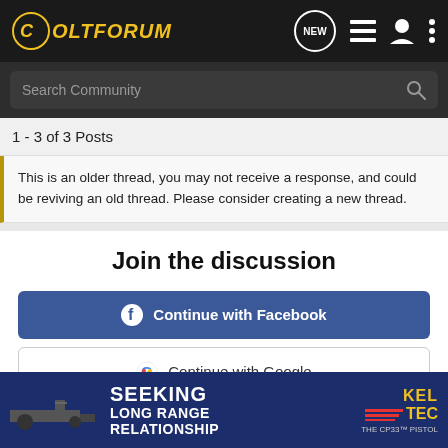ColtForum
Search Community
1 - 3 of 3 Posts
This is an older thread, you may not receive a response, and could be reviving an old thread. Please consider creating a new thread.
Join the discussion
Continue with Facebook
Continue with Google
or sign up with email
[Figure (screenshot): Kel-Tec CP33 pistol advertisement banner with text SEEKING LONG RANGE RELATIONSHIP]